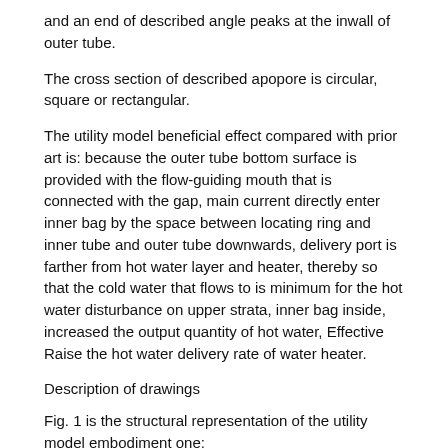and an end of described angle peaks at the inwall of outer tube.
The cross section of described apopore is circular, square or rectangular.
The utility model beneficial effect compared with prior art is: because the outer tube bottom surface is provided with the flow-guiding mouth that is connected with the gap, main current directly enter inner bag by the space between locating ring and inner tube and outer tube downwards, delivery port is farther from hot water layer and heater, thereby so that the cold water that flows to is minimum for the hot water disturbance on upper strata, inner bag inside, increased the output quantity of hot water, Effective Raise the hot water delivery rate of water heater.
Description of drawings
Fig. 1 is the structural representation of the utility model embodiment one;
Fig. 2 is the stereogram of outer tube of the present utility model;